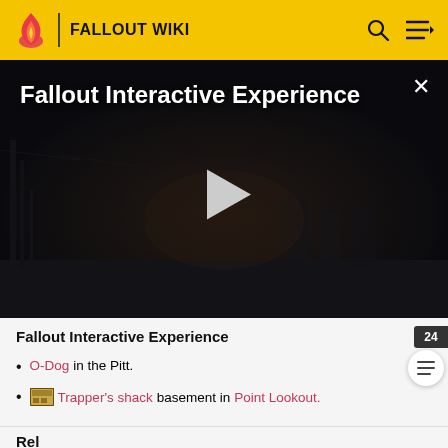FALLOUT WIKI
[Figure (screenshot): Dark post-apocalyptic video still with bare trees and foggy buildings. Title reads 'Fallout Interactive Experience' with a play button in the center and a close (X) button in the top-right.]
Fallout Interactive Experience
O-Dog in the Pitt.
Trapper's shack basement in Point Lookout.
Related locations